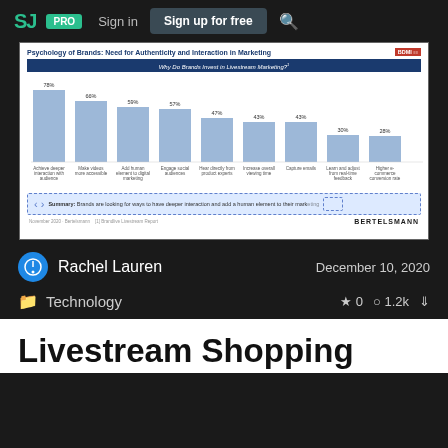SJ  PRO  Sign in  Sign up for free  🔍
[Figure (bar-chart): Why Do Brands Invest in Livestream Marketing?]
Rachel Lauren
December 10, 2020
Technology
0  1.2k
Livestream Shopping